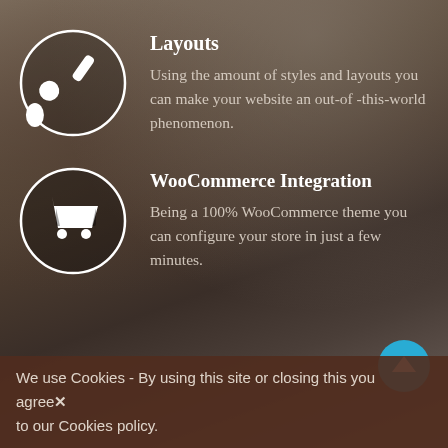[Figure (illustration): Circle icon with white paintbrush/pen icon representing layouts feature]
Layouts
Using the amount of styles and layouts you can make your website an out-of-this-world phenomenon.
[Figure (illustration): Circle icon with white shopping cart icon representing WooCommerce integration]
WooCommerce Integration
Being a 100% WooCommerce theme you can configure your store in just a few minutes.
We use Cookies - By using this site or closing this you agree X to our Cookies policy.